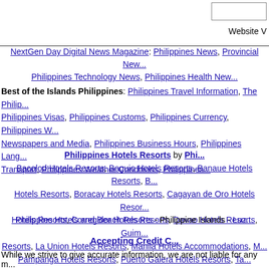Website V
NextGen Day Digital News Magazine: Philippines News, Provincial News, Philippines Technology News, Philippines Health News
Best of the Islands Philippines: Philippines Travel Information, The Philippines Visas, Philippines Customs, Philippines Currency, Philippines Newspapers and Media, Philippines Business Hours, Philippines Language, Transport, Philippines Weather Conditions, Philippines
Philippines Hotels Resorts by Philippines Hotels - Bacolod Hotels Resorts, Baguio Hotels Resorts, Banaue Hotels Resorts, Hotels Resorts, Boracay Hotels Resorts, Cagayan de Oro Hotels Resorts, Hotels Resorts, Corregidor Hotels Resorts, Davao Hotels Resorts, Guimaras Resorts, La Union Hotels Resorts, Manila Hotels Accommodations, Pampanga Hotels Resorts, Puerto Galera Hotels Resorts, Tacloban
Philippine Hotels and Beach Resorts - Philippine Islands - Luzzon
Accepting Credit Cards
While we strive to give accurate information, we are not liable for any mistakes.
About Us - FAQ's & Help - NextGen Day: Philippines Travel and Hotel Guide